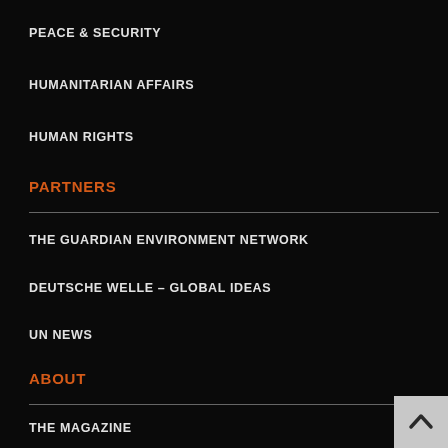PEACE & SECURITY
HUMANITARIAN AFFAIRS
HUMAN RIGHTS
PARTNERS
THE GUARDIAN ENVIRONMENT NETWORK
DEUTSCHE WELLE – GLOBAL IDEAS
UN NEWS
ABOUT
THE MAGAZINE
OUR CHARTER
COMMUNITY STANDARDS